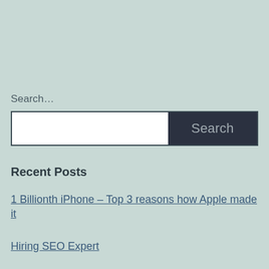Search…
Search
Recent Posts
1 Billionth iPhone – Top 3 reasons how Apple made it
Hiring SEO Expert